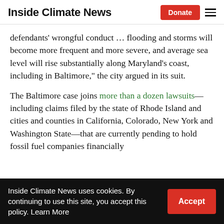Inside Climate News
defendants' wrongful conduct … flooding and storms will become more frequent and more severe, and average sea level will rise substantially along Maryland's coast, including in Baltimore," the city argued in its suit.
The Baltimore case joins more than a dozen lawsuits—including claims filed by the state of Rhode Island and cities and counties in California, Colorado, New York and Washington State—that are currently pending to hold fossil fuel companies financially
Inside Climate News uses cookies. By continuing to use this site, you accept this policy. Learn More